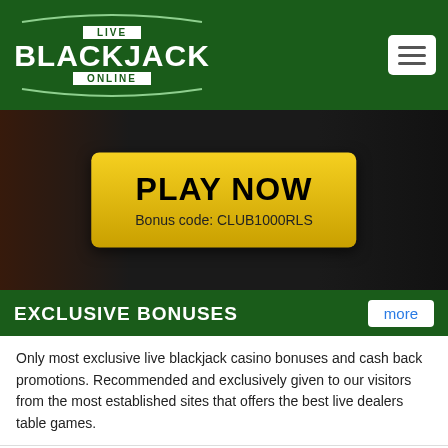[Figure (logo): Live Blackjack Online logo with white text on dark green background and arc decorations]
[Figure (screenshot): Casino banner with PLAY NOW button in gold/yellow and bonus code CLUB1000RLS]
EXCLUSIVE BONUSES
Only most exclusive live blackjack casino bonuses and cash back promotions. Recommended and exclusively given to our visitors from the most established sites that offers the best live dealers table games.
300% match bonus + 50% cash back from Palace of Chance
Grab extra $100 free chip from Rich Casino, use our promo code